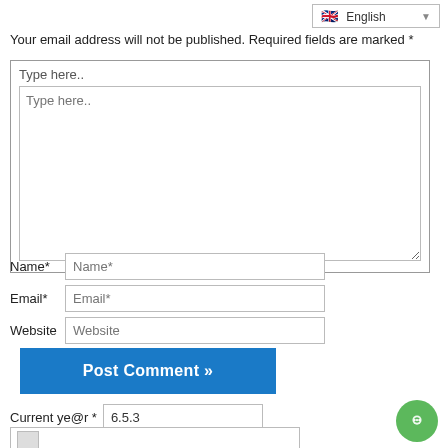English (language selector dropdown)
Your email address will not be published. Required fields are marked *
Type here.. (comment box label and textarea placeholder)
Name*
Email*
Website
Post Comment »
Current ye@r * 6.5.3
[Figure (other): Captcha image placeholder (broken image icon)]
[Figure (other): Green circular chat/support bubble icon in bottom right]